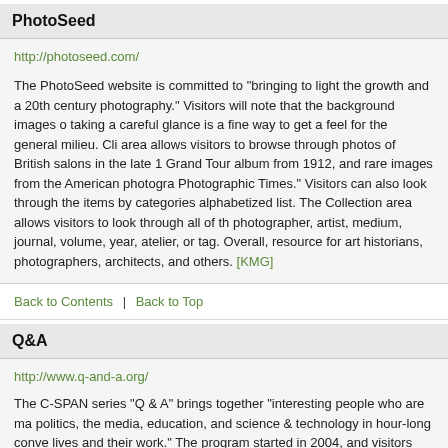PhotoSeed
http://photoseed.com/
The PhotoSeed website is committed to "bringing to light the growth and a... 20th century photography." Visitors will note that the background images o... taking a careful glance is a fine way to get a feel for the general milieu. Cli... area allows visitors to browse through photos of British salons in the late 1... Grand Tour album from 1912, and rare images from the American photogra... Photographic Times." Visitors can also look through the items by categories... alphabetized list. The Collection area allows visitors to look through all of t... photographer, artist, medium, journal, volume, year, atelier, or tag. Overall,... resource for art historians, photographers, architects, and others. [KMG]
Back to Contents  |  Back to Top
Q&A
http://www.q-and-a.org/
The C-SPAN series "Q & A" brings together "interesting people who are ma... politics, the media, education, and science & technology in hour-long conve... lives and their work." The program started in 2004, and visitors can view al... here, along with taking in the latest edition of this engaging program. Visito... Sunday to learn about the upcoming program, while the Coming Up area o... what's on tap in the near future. It's easy to just dip and get started he...